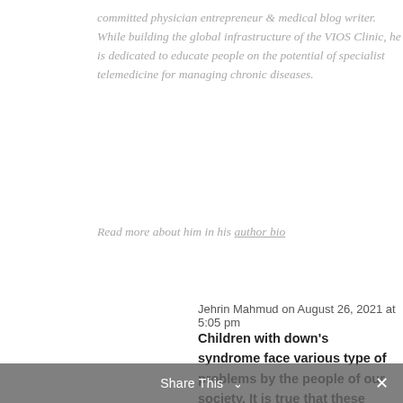committed physician entrepreneur & medical blog writer. While building the global infrastructure of the VIOS Clinic, he is dedicated to educate people on the potential of specialist telemedicine for managing chronic diseases.
Read more about him in his author bio
Jehrin Mahmud on August 26, 2021 at 5:05 pm
Children with down's syndrome face various type of problems by the people of our society. It is true that these type of children are trully special. However, they have
Share This ∨  ✕